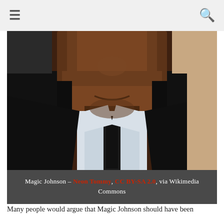☰  🔍
[Figure (photo): Close-up photo of Magic Johnson in a black suit, white shirt, and black tie, cropped from chin to torso.]
Magic Johnson – Neon Tommy, CC BY-SA 2.0, via Wikimedia Commons
Many people would argue that Magic Johnson should have been